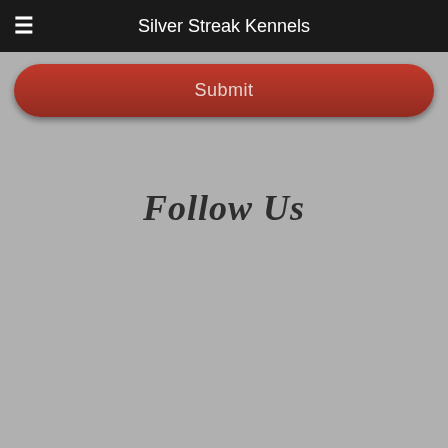Silver Streak Kennels
Submit
Follow Us